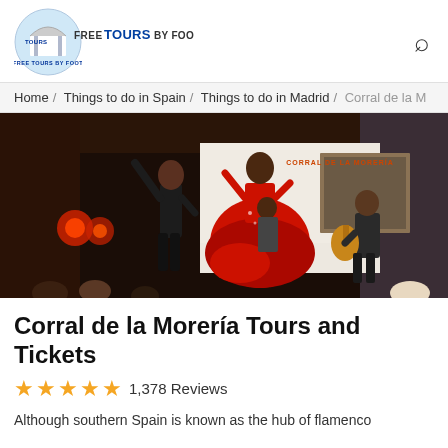Free Tours by Foot
Home / Things to do in Spain / Things to do in Madrid / Corral de la M
[Figure (photo): Flamenco dancers performing on stage at Corral de la Morería, Madrid. A man in dark clothes raises his arm while a woman in a red ruffled dress dances. A guitarist sits in the background.]
Corral de la Morería Tours and Tickets
1,378 Reviews
Although southern Spain is known as the hub of flamenco